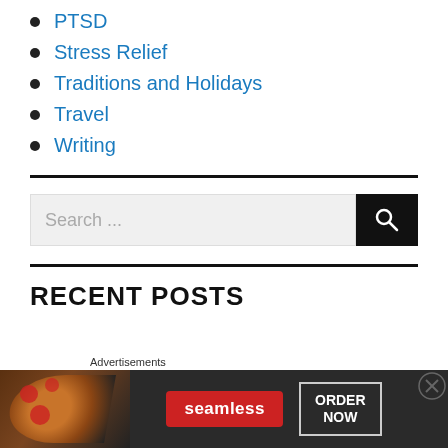PTSD
Stress Relief
Traditions and Holidays
Travel
Writing
[Figure (other): Search bar with text input field labeled 'Search ...' and a dark search button with magnifying glass icon]
RECENT POSTS
[Figure (other): Seamless food delivery advertisement banner showing pizza image, Seamless red logo badge, and ORDER NOW button]